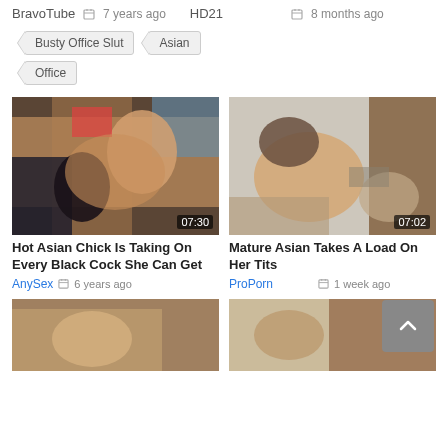BravoTube  7 years ago   HD21  8 months ago
Busty Office Slut
Asian
Office
[Figure (photo): Video thumbnail - Hot Asian Chick Is Taking On Every Black Cock She Can Get, duration 07:30]
Hot Asian Chick Is Taking On Every Black Cock She Can Get
AnySex   6 years ago
[Figure (photo): Video thumbnail - Mature Asian Takes A Load On Her Tits, duration 07:02]
Mature Asian Takes A Load On Her Tits
ProPorn   1 week ago
[Figure (photo): Bottom left video thumbnail, partially visible]
[Figure (photo): Bottom right video thumbnail, partially visible]